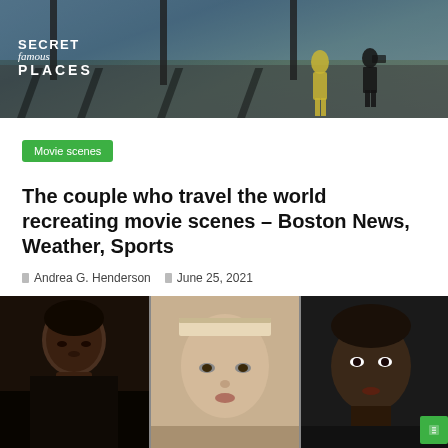[Figure (photo): Outdoor waterfront scene with shadows of people walking, with 'Secret Famous Places' logo overlaid in bottom-left]
Movie scenes
The couple who travel the world recreating movie scenes – Boston News, Weather, Sports
Andrea G. Henderson   June 25, 2021
[Figure (photo): Three side-by-side close-up face portraits: a dark-haired man on the left, a fair-skinned person with a headband in the middle, and a dark-skinned young man on the right]